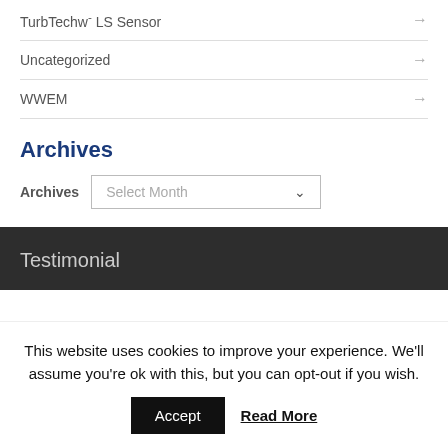TurbTechw- LS Sensor →
Uncategorized →
WWEM →
Archives
Archives  Select Month
Testimonial
This website uses cookies to improve your experience. We'll assume you're ok with this, but you can opt-out if you wish.
Accept   Read More